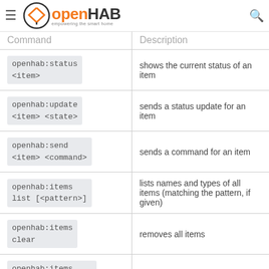openHAB — empowering the smart home
| Command | Description |
| --- | --- |
| openhab:status <item> | shows the current status of an item |
| openhab:update <item> <state> | sends a status update for an item |
| openhab:send <item> <command> | sends a command for an item |
| openhab:items list [<pattern>] | lists names and types of all items (matching the pattern, if given) |
| openhab:items clear | removes all items |
| openhab:items remove <itemName> | removes the given item |